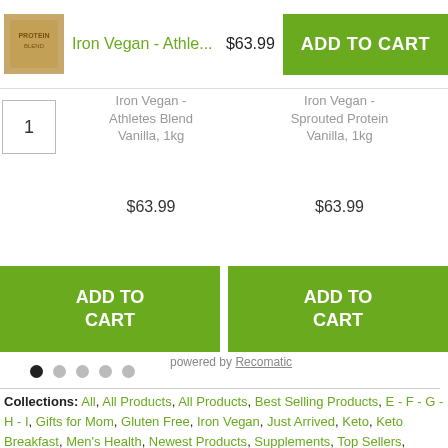[Figure (screenshot): Top sticky add-to-cart bar with product thumbnail, title 'Iron Vegan - Athle...', price '$63.99', and green ADD TO CART button]
Iron Vegan - Athletes Blend Vanilla, 1kg
$63.99
Iron Vegan - Sprouted Protein Vanilla, 1kg
$63.99
Sun Warrior - Warrior Blend Protein (chocolate), 750g
$63.99
ADD TO CART
ADD TO CART
ADD TO CART
powered by Recomatic
Collections: All, All Products, All Products, Best Selling Products, E - F - G - H - I, Gifts for Mom, Gluten Free, Iron Vegan, Just Arrived, Keto, Keto Breakfast, Men's Health, Newest Products, Supplements, Top Sellers, Vegan, Vegan Favourites, Vegan Keto, Hemp Protein Powder, Navitas